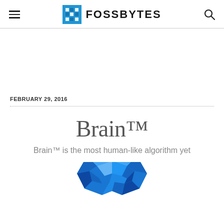FOSSBYTES
FEBRUARY 29, 2016
Brain™
Brain™ is the most human-like algorithm yet
[Figure (illustration): Low-poly geometric brain illustration in shades of blue]